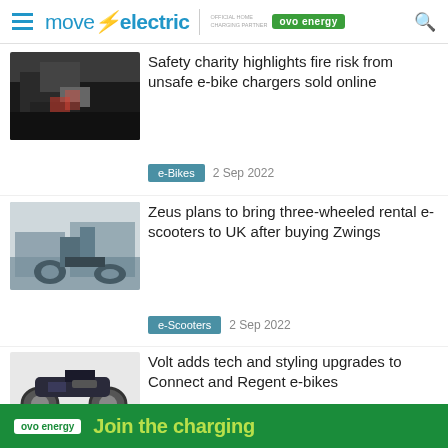move electric | OFFICIAL HOME CHARGING PARTNER ovo energy
Safety charity highlights fire risk from unsafe e-bike chargers sold online
e-Bikes   2 Sep 2022
Zeus plans to bring three-wheeled rental e-scooters to UK after buying Zwings
e-Scooters   2 Sep 2022
Volt adds tech and styling upgrades to Connect and Regent e-bikes
e-Bikes   1 Sep 2022
ovo energy   Join the charging